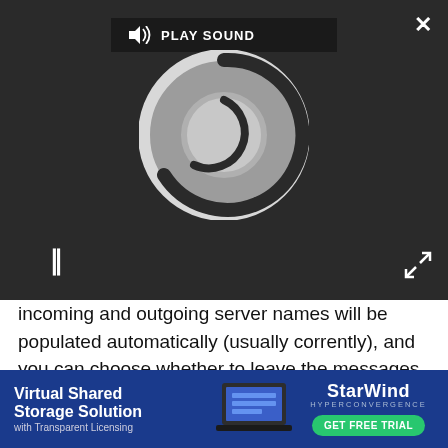[Figure (screenshot): Video player overlay with dark background, showing a loading spinner (circular icon), a PLAY SOUND button at top center, a pause button (||) at bottom left, a close (X) button at top right, and an expand arrows button at bottom right.]
incoming and outgoing server names will be populated automatically (usually corrently), and you can choose whether to leave the messages on the server if you delete them. There's also the option to use a secure connection – something that's missing from most clients.
Further options become available once the account is set up, including a very useful low-bandwidth mode that doesn't load attachments – ideal if you're using your smartphone as a Wi-Fi hotspot and don't want it
[Figure (screenshot): Advertisement banner with dark blue background. Left side: 'Virtual Shared Storage Solution with Transparent Licensing'. Center: laptop image. Right side: StarWind Hyperconvergence logo and 'GET FREE TRIAL' green button.]